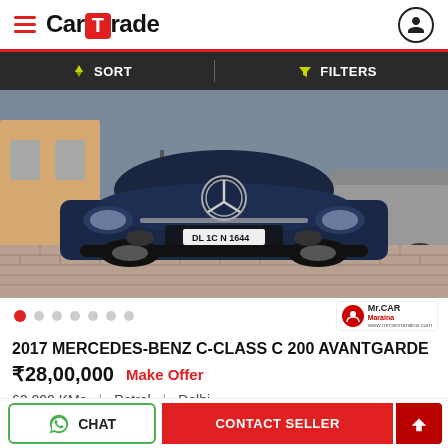CarTrade
SORT   FILTERS
[Figure (photo): Front view of a dark blue 2017 Mercedes-Benz C-Class C 200 Avantgarde with license plate DL 1C N 1644, parked on a brick driveway in front of a building with other cars in background.]
2017 MERCEDES-BENZ C-CLASS C 200 AVANTGARDE
₹28,00,000  Make Offer
62,000 KMs  |  Petrol  |  Delhi
CHAT   CONTACT SELLER